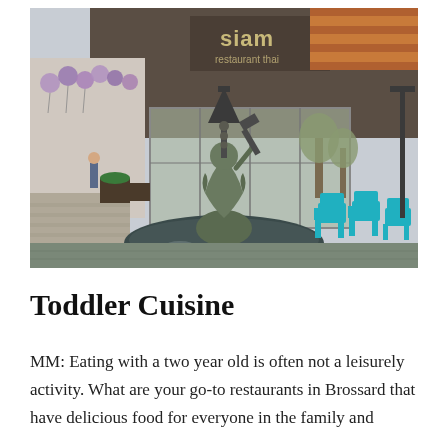[Figure (photo): Outdoor shopping plaza scene with a bronze sculpture/fountain in the foreground showing a figure holding a spatula, teal/turquoise Adirondack chairs to the right, stores including 'Siam restaurant thai' signage in background, purple balloon decorations on the left side, trees, and a pedestrian walkway.]
Toddler Cuisine
MM: Eating with a two year old is often not a leisurely activity. What are your go-to restaurants in Brossard that have delicious food for everyone in the family and